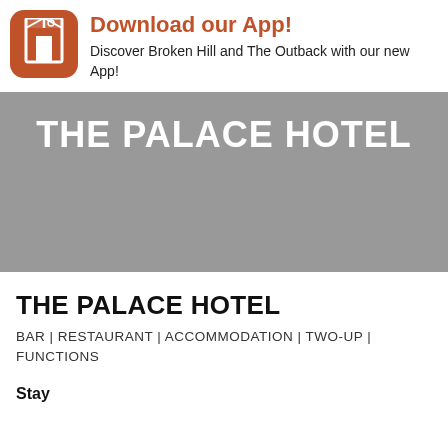[Figure (logo): Orange rounded square app icon with white building/arch silhouette]
Download our App!
Discover Broken Hill and The Outback with our new App!
[Figure (photo): Grey banner background with THE PALACE HOTEL text in white bold letters]
THE PALACE HOTEL
BAR | RESTAURANT | ACCOMMODATION | TWO-UP | FUNCTIONS
Stay